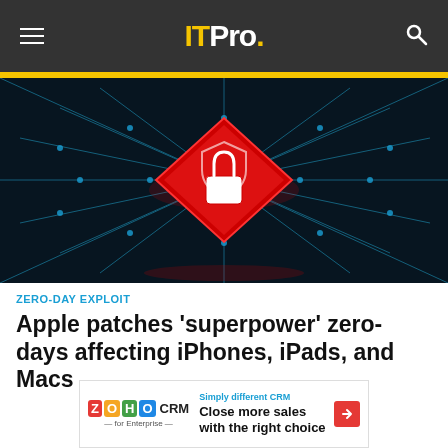ITPro.
[Figure (photo): Dark circuit board background with a red diamond-shaped security lock icon glowing in the center, representing cybersecurity threat]
ZERO-DAY EXPLOIT
Apple patches 'superpower' zero-days affecting iPhones, iPads, and Macs
[Figure (other): Advertisement banner for Zoho CRM for Enterprise. Text reads: 'Simply different CRM - Close more sales with the right choice']